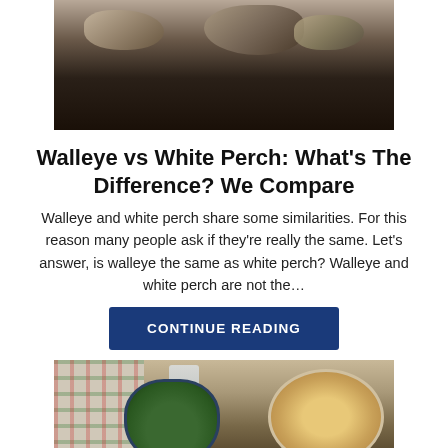[Figure (photo): Photo of grilled or cooked fish pieces on a dark tray, viewed from above]
Walleye vs White Perch: What's The Difference? We Compare
Walleye and white perch share some similarities. For this reason many people ask if they're really the same. Let's answer, is walleye the same as white perch? Walleye and white perch are not the…
CONTINUE READING
[Figure (photo): Photo of a table setting with a bowl of salad with tomatoes, a bowl of chips/crackers, a glass, and a plaid tablecloth]